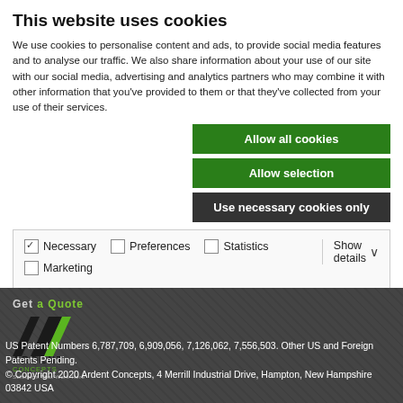This website uses cookies
We use cookies to personalise content and ads, to provide social media features and to analyse our traffic. We also share information about your use of our site with our social media, advertising and analytics partners who may combine it with other information that you've provided to them or that they've collected from your use of their services.
Allow all cookies
Allow selection
Use necessary cookies only
| ☑ Necessary | ☐ Preferences | ☐ Statistics | Show details ∨ |
| ☐ Marketing |  |  |  |
[Figure (logo): Ardent Concepts logo with stylized A/slash design in black and green, with text 'ARDENT CONCEPTS' below]
US Patent Numbers 6,787,709, 6,909,056, 7,126,062, 7,556,503. Other US and Foreign Patents Pending.
© Copyright 2020 Ardent Concepts, 4 Merrill Industrial Drive, Hampton, New Hampshire 03842 USA